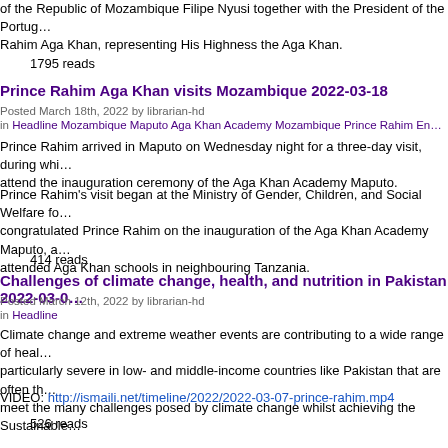of the Republic of Mozambique Filipe Nyusi together with the President of the Portug… Rahim Aga Khan, representing His Highness the Aga Khan.
1795 reads
Prince Rahim Aga Khan visits Mozambique 2022-03-18
Posted March 18th, 2022 by librarian-hd
in Headline Mozambique Maputo Aga Khan Academy Mozambique Prince Rahim En…
Prince Rahim arrived in Maputo on Wednesday night for a three-day visit, during whi… attend the inauguration ceremony of the Aga Khan Academy Maputo.
Prince Rahim's visit began at the Ministry of Gender, Children, and Social Welfare fo… congratulated Prince Rahim on the inauguration of the Aga Khan Academy Maputo, a… attended Aga Khan schools in neighbouring Tanzania.
414 reads
Challenges of climate change, health, and nutrition in Pakistan 2022-03-0…
Posted March 12th, 2022 by librarian-hd
in Headline
Climate change and extreme weather events are contributing to a wide range of heal… particularly severe in low- and middle-income countries like Pakistan that are often th… meet the many challenges posed by climate change whilst achieving the Sustainable…
VIDEO: http://ismaili.net/timeline/2022/2022-03-07-prince-rahim.mp4
526 reads